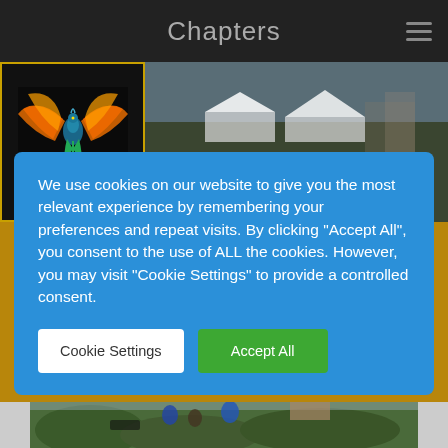Chapters
[Figure (logo): Phoenix/firebird logo on dark background with golden yellow border]
[Figure (photo): Outdoor scene with white marquee tents visible]
We use cookies on our website to give you the most relevant experience by remembering your preferences and repeat visits. By clicking “Accept All”, you consent to the use of ALL the cookies. However, you may visit “Cookie Settings” to provide a controlled consent.
Cookie Settings
Accept All
[Figure (photo): People standing outdoors with hedges and houses in background]